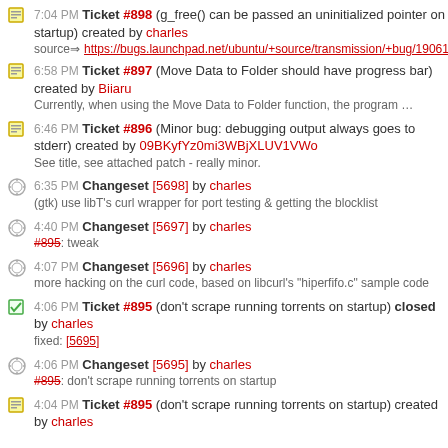7:04 PM Ticket #898 (g_free() can be passed an uninitialized pointer on startup) created by charles
source: https://bugs.launchpad.net/ubuntu/+source/transmission/+bug/190618
6:58 PM Ticket #897 (Move Data to Folder should have progress bar) created by Biiaru
Currently, when using the Move Data to Folder function, the program …
6:46 PM Ticket #896 (Minor bug: debugging output always goes to stderr) created by 09BKyfYz0mi3WBjXLUV1VWo
See title, see attached patch - really minor.
6:35 PM Changeset [5698] by charles
(gtk) use libT's curl wrapper for port testing & getting the blocklist
4:40 PM Changeset [5697] by charles
#895: tweak
4:07 PM Changeset [5696] by charles
more hacking on the curl code, based on libcurl's "hiperfifo.c" sample code
4:06 PM Ticket #895 (don't scrape running torrents on startup) closed by charles
fixed: [5695]
4:06 PM Changeset [5695] by charles
#895: don't scrape running torrents on startup
4:04 PM Ticket #895 (don't scrape running torrents on startup) created by charles